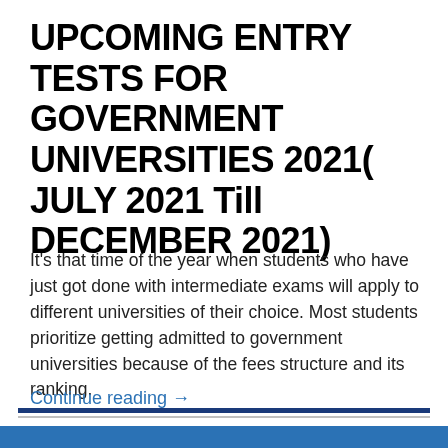UPCOMING ENTRY TESTS FOR GOVERNMENT UNIVERSITIES 2021( JULY 2021 Till DECEMBER 2021)
It's that time of the year when students who have just got done with intermediate exams will apply to different universities of their choice. Most students prioritize getting admitted to government universities because of the fees structure and its ranking.
Continue reading →